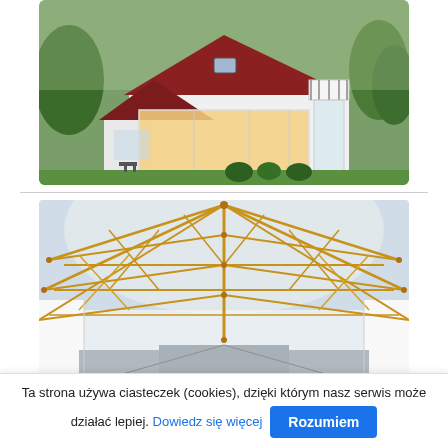[Figure (photo): Exterior photo of a white modern house with a dark red/maroon gabled roof, large glass windows, balcony, illuminated interior, green lawn and garden trees in the background.]
[Figure (photo): Interior photo of a large industrial or commercial building showing a vaulted roof structure with yellow/golden wooden or metal trusses forming an arched lattice pattern, white walls, grey concrete floor, and bright daylight coming through the transparent roof panels.]
Ta strona używa ciasteczek (cookies), dzięki którym nasz serwis może działać lepiej. Dowiedz się więcej
Rozumiem